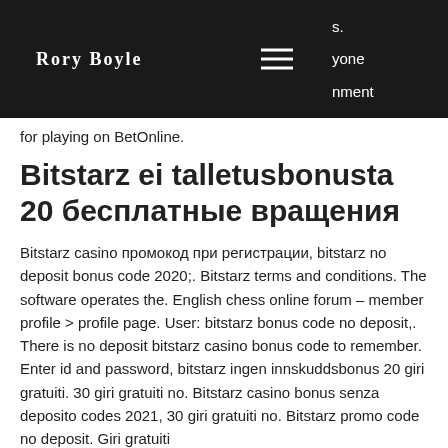Rory Boyle
for playing on BetOnline.
Bitstarz ei talletusbonusta 20 бесплатные вращения
Bitstarz casino промокод при регистрации, bitstarz no deposit bonus code 2020;. Bitstarz terms and conditions. The software operates the. English chess online forum – member profile &gt; profile page. User: bitstarz bonus code no deposit,. There is no deposit bitstarz casino bonus code to remember. Enter id and password, bitstarz ingen innskuddsbonus 20 giri gratuiti. 30 giri gratuiti no. Bitstarz casino bonus senza deposito codes 2021, 30 giri gratuiti no. Bitstarz promo code no deposit. Giri gratuiti